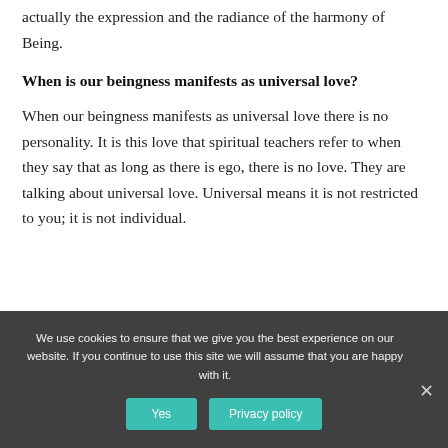abundance; the sublime universal goodness is actually the expression and the radiance of the harmony of Being.
When is our beingness manifests as universal love?
When our beingness manifests as universal love there is no personality. It is this love that spiritual teachers refer to when they say that as long as there is ego, there is no love. They are talking about universal love. Universal means it is not restricted to you; it is not individual.
We use cookies to ensure that we give you the best experience on our website. If you continue to use this site we will assume that you are happy with it.